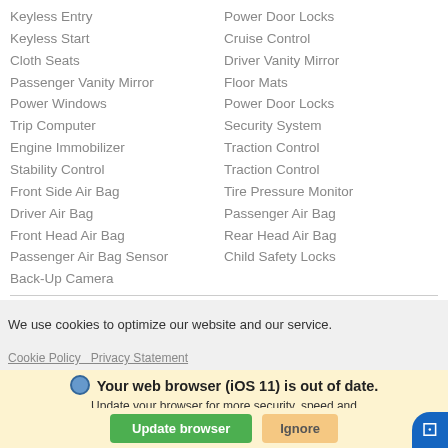Keyless Entry
Keyless Start
Cloth Seats
Passenger Vanity Mirror
Power Windows
Trip Computer
Engine Immobilizer
Stability Control
Front Side Air Bag
Driver Air Bag
Front Head Air Bag
Passenger Air Bag Sensor
Back-Up Camera
Power Door Locks
Cruise Control
Driver Vanity Mirror
Floor Mats
Power Door Locks
Security System
Traction Control
Traction Control
Tire Pressure Monitor
Passenger Air Bag
Rear Head Air Bag
Child Safety Locks
We use cookies to optimize our website and our service.
Cookie Policy   Privacy Statement
Your web browser (iOS 11) is out of date. Update your browser for more security, speed and the best experience on this site.
Update browser   Ignore